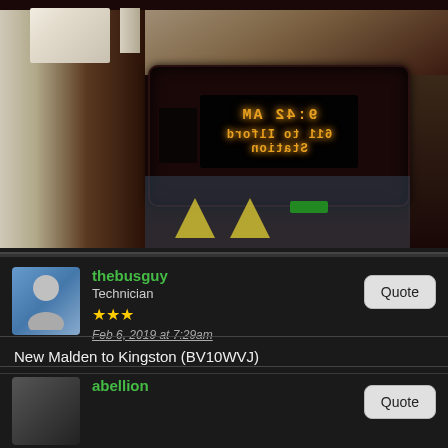[Figure (photo): Interior of a bus showing an LED destination display board (reflected/mirrored) showing '9:42 AM' and '611 to Ilford Station' in orange LED text on a dark electronic display panel, mounted above the windows. The interior has dark wooden trim and light-colored ceiling panels visible.]
thebusguy
Technician
★★★
Feb 6, 2019 at 7:29am
New Malden to Kingston (BV10WVJ)
abellion